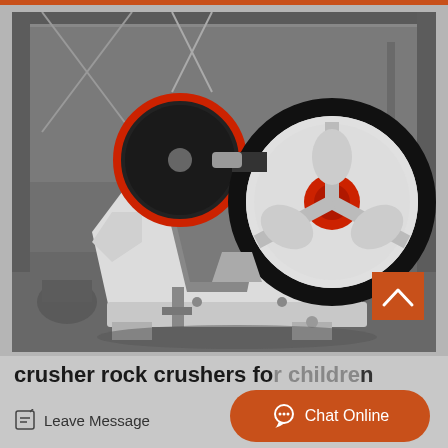[Figure (photo): Industrial jaw crusher machine photographed in a factory/warehouse setting. The crusher has a large white and red flywheel on the right side and a white metal frame body. Background shows a large industrial building interior.]
crusher rock crushers for children
Leave Message
Chat Online